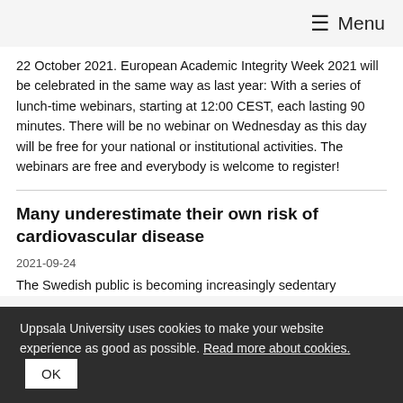≡ Menu
22 October 2021. European Academic Integrity Week 2021 will be celebrated in the same way as last year: With a series of lunch-time webinars, starting at 12:00 CEST, each lasting 90 minutes. There will be no webinar on Wednesday as this day will be free for your national or institutional activities. The webinars are free and everybody is welcome to register!
Many underestimate their own risk of cardiovascular disease
2021-09-24
The Swedish public is becoming increasingly sedentary
Uppsala University uses cookies to make your website experience as good as possible. Read more about cookies. OK